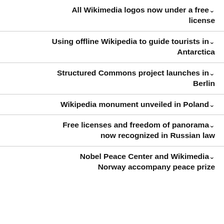All Wikimedia logos now under a free license
Using offline Wikipedia to guide tourists in Antarctica
Structured Commons project launches in Berlin
Wikipedia monument unveiled in Poland
Free licenses and freedom of panorama now recognized in Russian law
Nobel Peace Center and Wikimedia Norway accompany peace prize